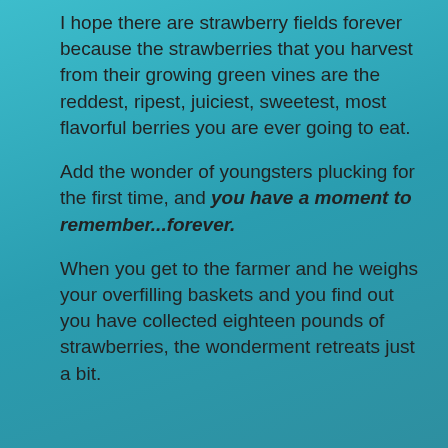I hope there are strawberry fields forever because the strawberries that you harvest from their growing green vines are the reddest, ripest, juiciest, sweetest, most flavorful berries you are ever going to eat.
Add the wonder of youngsters plucking for the first time, and you have a moment to remember...forever.
When you get to the farmer and he weighs your overfilling baskets and you find out you have collected eighteen pounds of strawberries, the wonderment retreats just a bit.